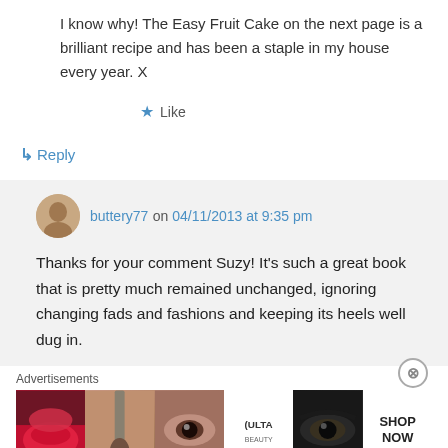I know why! The Easy Fruit Cake on the next page is a brilliant recipe and has been a staple in my house every year. X
★ Like
↳ Reply
buttery77 on 04/11/2013 at 9:35 pm
Thanks for your comment Suzy! It's such a great book that is pretty much remained unchanged, ignoring changing fads and fashions and keeping its heels well dug in.
Advertisements
[Figure (screenshot): ULTA beauty advertisement banner with makeup imagery and SHOP NOW call to action]